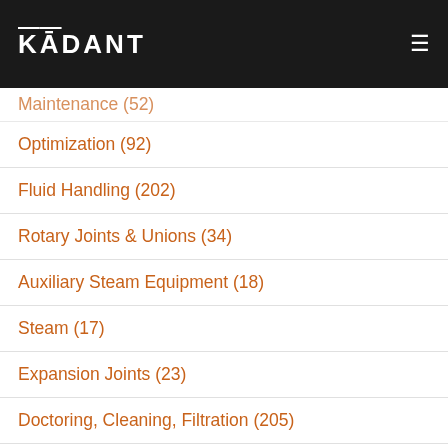KADANT
Maintenance (52)
Optimization (92)
Fluid Handling (202)
Rotary Joints & Unions (34)
Auxiliary Steam Equipment (18)
Steam (17)
Expansion Joints (23)
Doctoring, Cleaning, Filtration (205)
Roll Cleaning (88)
Water Management (45)
Fiber Processing (12)